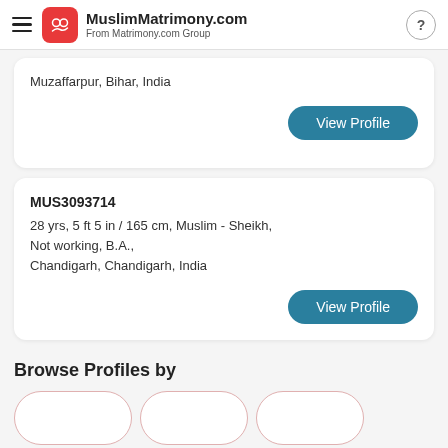MuslimMatrimony.com — From Matrimony.com Group
Muzaffarpur, Bihar, India
View Profile
MUS3093714
28 yrs, 5 ft 5 in / 165 cm, Muslim - Sheikh,
Not working, B.A.,
Chandigarh, Chandigarh, India
View Profile
Browse Profiles by